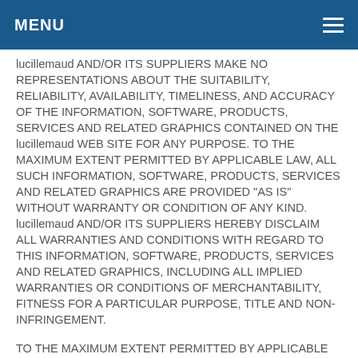MENU
lucillemaud AND/OR ITS SUPPLIERS MAKE NO REPRESENTATIONS ABOUT THE SUITABILITY, RELIABILITY, AVAILABILITY, TIMELINESS, AND ACCURACY OF THE INFORMATION, SOFTWARE, PRODUCTS, SERVICES AND RELATED GRAPHICS CONTAINED ON THE lucillemaud WEB SITE FOR ANY PURPOSE. TO THE MAXIMUM EXTENT PERMITTED BY APPLICABLE LAW, ALL SUCH INFORMATION, SOFTWARE, PRODUCTS, SERVICES AND RELATED GRAPHICS ARE PROVIDED "AS IS" WITHOUT WARRANTY OR CONDITION OF ANY KIND. lucillemaud AND/OR ITS SUPPLIERS HEREBY DISCLAIM ALL WARRANTIES AND CONDITIONS WITH REGARD TO THIS INFORMATION, SOFTWARE, PRODUCTS, SERVICES AND RELATED GRAPHICS, INCLUDING ALL IMPLIED WARRANTIES OR CONDITIONS OF MERCHANTABILITY, FITNESS FOR A PARTICULAR PURPOSE, TITLE AND NON-INFRINGEMENT.
TO THE MAXIMUM EXTENT PERMITTED BY APPLICABLE LAW, IN NO EVENT SHALL lucillemaud AND/OR ITS SUPPLIERS BE LIABLE FOR ANY DIRECT, INDIRECT, PUNITIVE, INCIDENTAL, SPECIAL, CONSEQUENTIAL DAMAGES OR ANY DAMAGES WHATSOEVER INCLUDING